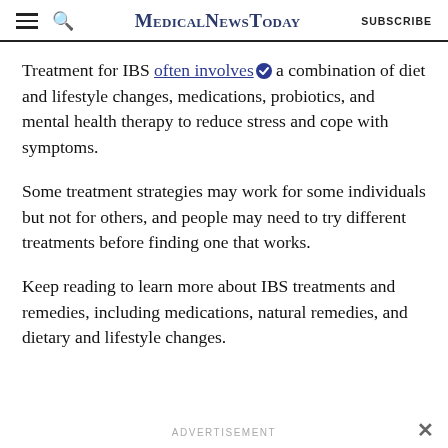MedicalNewsToday | SUBSCRIBE
Treatment for IBS often involves a combination of diet and lifestyle changes, medications, probiotics, and mental health therapy to reduce stress and cope with symptoms.
Some treatment strategies may work for some individuals but not for others, and people may need to try different treatments before finding one that works.
Keep reading to learn more about IBS treatments and remedies, including medications, natural remedies, and dietary and lifestyle changes.
ADVERTISEMENT